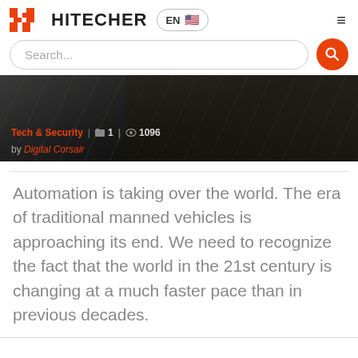HITECHER  EN
[Figure (screenshot): Hitecher website screenshot with logo, language selector, search bar, and article banner image showing a dark car detail with Tech & Security category, 1 comment, 1096 views, by Digital Corsair]
Automation is taking over the world. The era of traditional manned vehicles is approaching its end. We need to recognize the fact that the world in the 21st century is changing at a much faster pace than in previous decades.